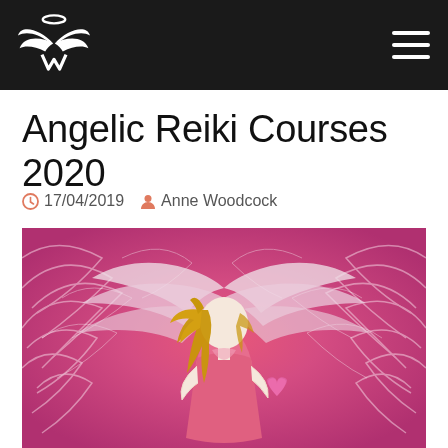Angelic Reiki – navigation header with logo and menu
Angelic Reiki Courses 2020
17/04/2019  Anne Woodcock
[Figure (illustration): Painting of an angel with golden hair wearing a pink dress, holding a pink heart, surrounded by swirling pink and white feathery wings]